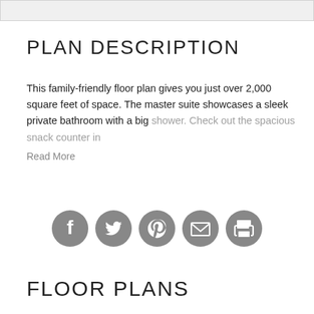[Figure (other): Gray top bar / header image area]
PLAN DESCRIPTION
This family-friendly floor plan gives you just over 2,000 square feet of space. The master suite showcases a sleek private bathroom with a big shower. Check out the spacious snack counter in
Read More
[Figure (infographic): Row of five circular gray social sharing icons: Facebook, Twitter, Pinterest, Email, Print]
FLOOR PLANS